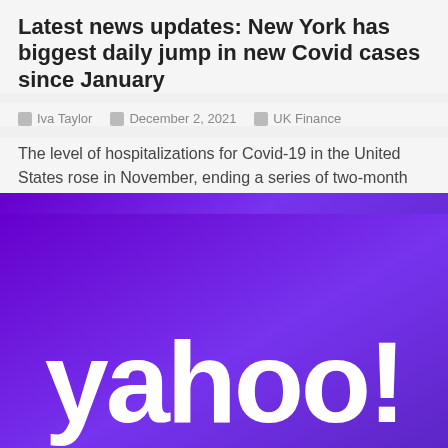Latest news updates: New York has biggest daily jump in new Covid cases since January
Iva Taylor  December 2, 2021  UK Finance
The level of hospitalizations for Covid-19 in the United States rose in November, ending a series of two-month declines after the country's summer surge.The increase in hospitalizations has been accompanied by...
[Figure (logo): Yahoo! logo in white text on purple-to-violet gradient background]